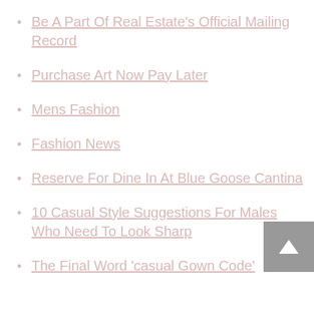Be A Part Of Real Estate's Official Mailing Record
Purchase Art Now Pay Later
Mens Fashion
Fashion News
Reserve For Dine In At Blue Goose Cantina
10 Casual Style Suggestions For Males Who Need To Look Sharp
The Final Word 'casual Gown Code'